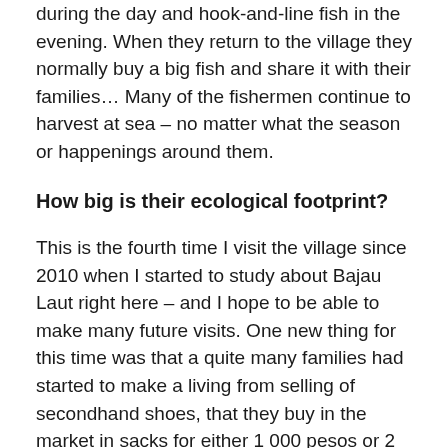during the day and hook-and-line fish in the evening. When they return to the village they normally buy a big fish and share it with their families… Many of the fishermen continue to harvest at sea – no matter what the season or happenings around them.
How big is their ecological footprint?
This is the fourth time I visit the village since 2010 when I started to study about Bajau Laut right here – and I hope to be able to make many future visits. One new thing for this time was that a quite many families had started to make a living from selling of secondhand shoes, that they buy in the market in sacks for either 1 000 pesos or 2 800 pesos each. Then, they are repairing the shoes and selling them to people in Davao and neighboring cities.
In December it is also common that Sama and other local